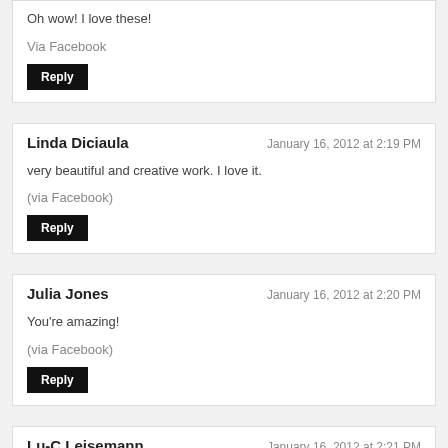Oh wow! I love these!
Via Facebook
Reply
Linda Diciaula
January 16, 2012 at 2:19 PM
very beautiful and creative work. I love it.
(via Facebook)
Reply
Julia Jones
January 16, 2012 at 2:20 PM
You're amazing!
(via Facebook)
Reply
Lu-C Leisemann
January 16, 2012 at 2:21 PM